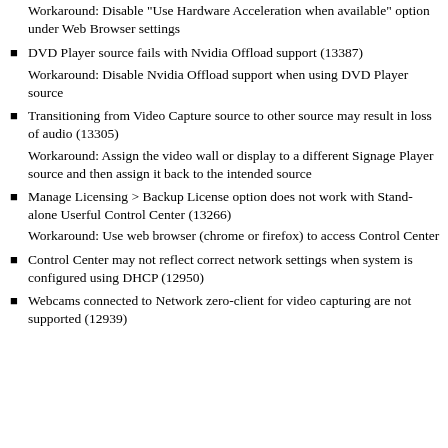Workaround: Disable "Use Hardware Acceleration when available" option under Web Browser settings
DVD Player source fails with Nvidia Offload support (13387)
Workaround: Disable Nvidia Offload support when using DVD Player source
Transitioning from Video Capture source to other source may result in loss of audio (13305)
Workaround: Assign the video wall or display to a different Signage Player source and then assign it back to the intended source
Manage Licensing > Backup License option does not work with Stand-alone Userful Control Center (13266)
Workaround: Use web browser (chrome or firefox) to access Control Center
Control Center may not reflect correct network settings when system is configured using DHCP (12950)
Webcams connected to Network zero-client for video capturing are not supported (12939)